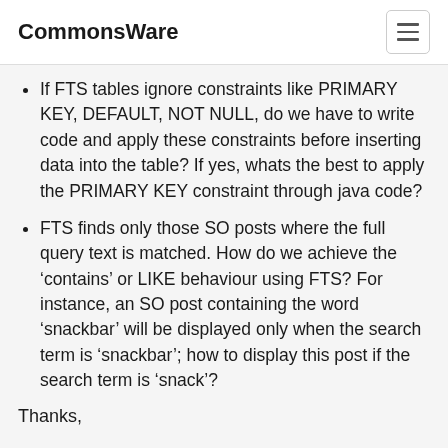CommonsWare
If FTS tables ignore constraints like PRIMARY KEY, DEFAULT, NOT NULL, do we have to write code and apply these constraints before inserting data into the table? If yes, whats the best to apply the PRIMARY KEY constraint through java code?
FTS finds only those SO posts where the full query text is matched. How do we achieve the ‘contains’ or LIKE behaviour using FTS? For instance, an SO post containing the word ‘snackbar’ will be displayed only when the search term is ‘snackbar’; how to display this post if the search term is ‘snack’?
Thanks,